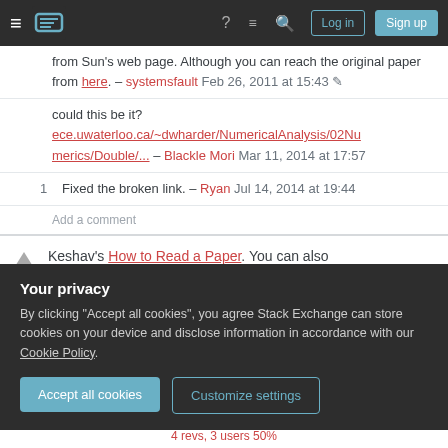Stack Exchange navigation bar with hamburger menu, logo, help, chat, search icons, and Log in / Sign up buttons
from Sun's web page. Although you can reach the original paper from here. – systemsfault Feb 26, 2011 at 15:43
could this be it? ece.uwaterloo.ca/~dwharder/NumericalAnalysis/02Numerics/Double/... – Blackle Mori Mar 11, 2014 at 17:57
1  Fixed the broken link. – Ryan Jul 14, 2014 at 19:44
Add a comment
Keshav's How to Read a Paper. You can also
Your privacy
By clicking "Accept all cookies", you agree Stack Exchange can store cookies on your device and disclose information in accordance with our Cookie Policy.
Accept all cookies
Customize settings
4 revs, 3 users 50%